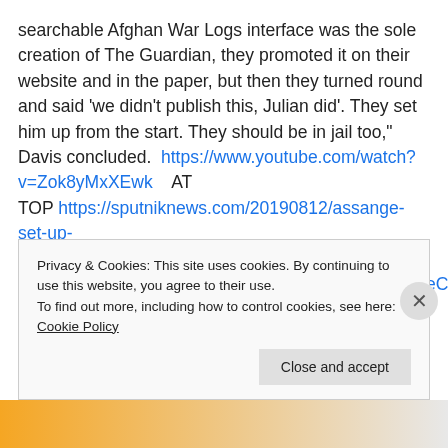searchable Afghan War Logs interface was the sole creation of The Guardian, they promoted it on their website and in the paper, but then they turned round and said 'we didn't publish this, Julian did'. They set him up from the start. They should be in jail too," Davis concluded.  https://www.youtube.com/watch?v=Zok8yMxXEwk    AT TOP https://sputniknews.com/20190812/assange-set-up-davis-guardian-new-york-times-1076533649.html?fbclid=IwAR3TASTVrvLJZqXmcYK_7xQ79FzCd0BMeClw0R2uDE40_hIJDatI3dU0v2gA
Privacy & Cookies: This site uses cookies. By continuing to use this website, you agree to their use.
To find out more, including how to control cookies, see here: Cookie Policy